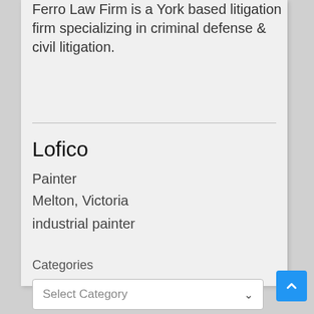Ferro Law Firm is a York based litigation firm specializing in criminal defense & civil litigation.
Lofico
Painter
Melton, Victoria
industrial painter
Categories
Select Category